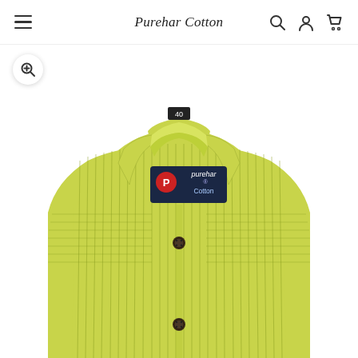Purehar Cotton
[Figure (photo): Yellow-green striped men's formal shirt folded/displayed flat showing collar with Purehar Cotton label (size 40), dark buttons, and short sleeves. The shirt has thin dark pinstripes on a lime/yellow-green background.]